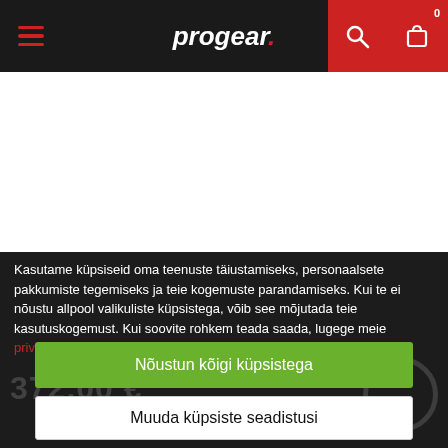progear.
[Figure (screenshot): White content area (product page background)]
Kasutame küpsiseid oma teenuste täiustamiseks, personaalsete pakkumiste tegemiseks ja teie kogemuste parandamiseks. Kui te ei nõustu allpool valikuliste küpsistega, võib see mõjutada teie kasutuskogemust. Kui soovite rohkem teada saada, lugege meie privaatsuspoliitikat.
Nõustun kõigi küpsistega
Muuda küpsiste seadistusi
Lootss...